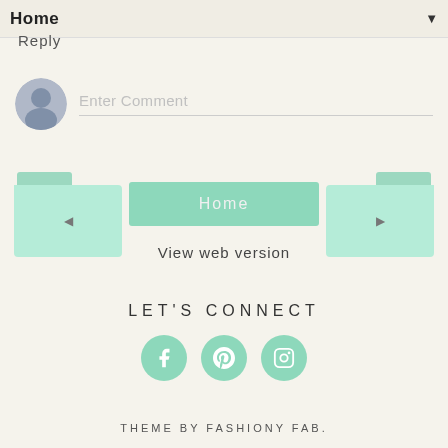Home ▼
Reply
[Figure (other): User avatar placeholder (grey silhouette circle) with 'Enter Comment' input field placeholder text below a horizontal line]
[Figure (other): Navigation area: left teal folder button with left arrow, center teal 'Home' button, right teal folder button with right arrow]
View web version
LET'S CONNECT
[Figure (other): Three teal circular social media icons: Facebook (f), Pinterest (p), Instagram (camera)]
THEME BY FASHIONY FAB.